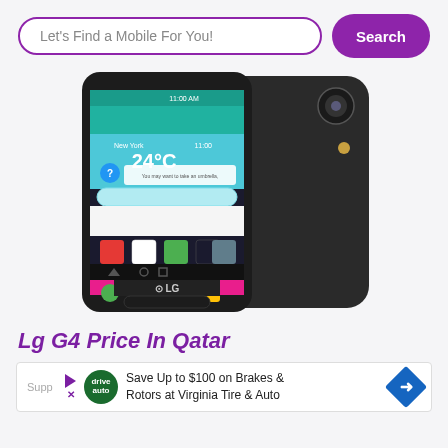[Figure (screenshot): Search bar UI with text input 'Let's Find a Mobile For You!' and a purple 'Search' button]
[Figure (photo): LG G4 smartphone showing front and back, screen displaying Android home screen with clock showing 24°C and 11:00]
Lg G4 Price In Qatar
[Figure (screenshot): Advertisement banner: Save Up to $100 on Brakes & Rotors at Virginia Tire & Auto, with Driva Auto logo and blue arrow icon]